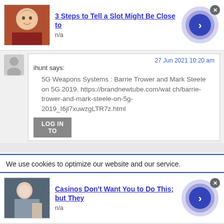[Figure (other): Ad banner: thumbnail photo of older man, title '3 Steps to Tell a Slot Might Be Close to', subtext 'n/a', with circular arrow button]
27 Jun 2021 10:20 am
ihunt says:
5G Weapons Systems : Barrie Trower and Mark Steele on 5G 2019. https://brandnewtube.com/watch/barrie-trower-and-mark-steele-on-5g-2019_I6jl7xuwzgLTR7z.html
LOG IN TO
We use cookies to optimize our website and our service.
[Figure (other): Ad banner: thumbnail photo of woman, title 'Casinos Don't Want You to Do This; but They', subtext 'n/a', with circular arrow button]